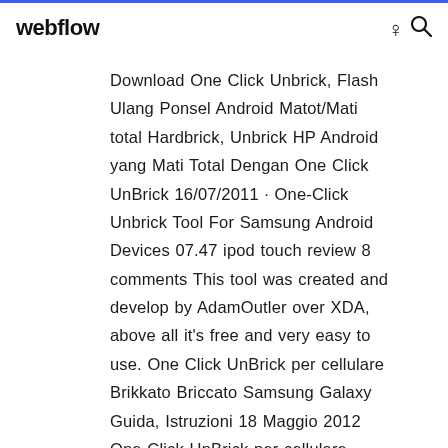webflow
Download One Click Unbrick, Flash Ulang Ponsel Android Matot/Mati total Hardbrick, Unbrick HP Android yang Mati Total Dengan One Click UnBrick 16/07/2011 · One-Click Unbrick Tool For Samsung Android Devices 07.47 ipod touch review 8 comments This tool was created and develop by AdamOutler over XDA, above all it's free and very easy to use. One Click UnBrick per cellulare Brikkato Briccato Samsung Galaxy Guida, Istruzioni 18 Maggio 2012 One-Click-UnBrick per cellulare smartphone Android Samsung Galaxy. Heimdall One Click 1.3.1 makes it easy to quickly make shopping lists and Heimdall One Click 1.3.1